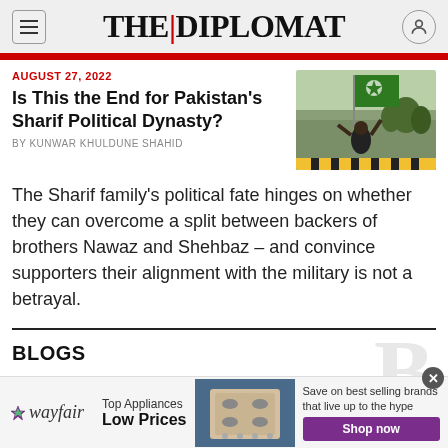THE DIPLOMAT
AUGUST 27, 2022
Is This the End for Pakistan's Sharif Political Dynasty?
By KUNWAR KHULDUNE SHAHID
[Figure (photo): Person holding a green flag at a political rally]
The Sharif family's political fate hinges on whether they can overcome a split between backers of brothers Nawaz and Shehbaz – and convince supporters their alignment with the military is not a betrayal.
BLOGS
[Figure (infographic): Wayfair advertisement banner: Top Appliances Low Prices, Save on best selling brands that live up to the hype, Shop now button]